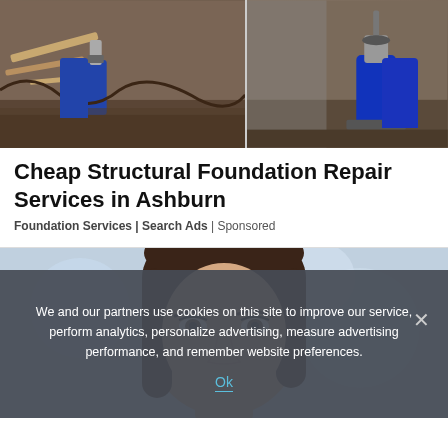[Figure (photo): Two photos of foundation repair work: hydraulic jacks and support equipment under a house foundation on dirt ground.]
Cheap Structural Foundation Repair Services in Ashburn
Foundation Services | Search Ads | Sponsored
[Figure (photo): Portrait photo of a young woman with long dark brown hair, looking slightly upward, with a blurred blue background.]
We and our partners use cookies on this site to improve our service, perform analytics, personalize advertising, measure advertising performance, and remember website preferences.
Ok